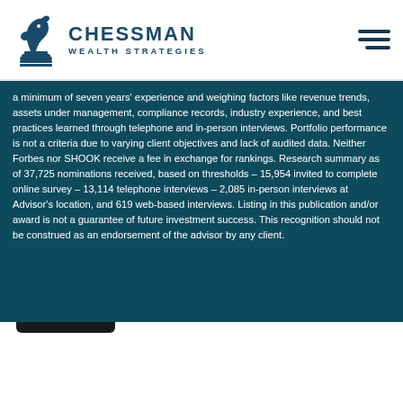[Figure (logo): Chessman Wealth Strategies logo with chess knight icon and hamburger menu]
a minimum of seven years' experience and weighing factors like revenue trends, assets under management, compliance records, industry experience, and best practices learned through telephone and in-person interviews. Portfolio performance is not a criteria due to varying client objectives and lack of audited data. Neither Forbes nor SHOOK receive a fee in exchange for rankings. Research summary as of 37,725 nominations received, based on thresholds – 15,954 invited to complete online survey – 13,114 telephone interviews – 2,085 in-person interviews at Advisor's location, and 619 web-based interviews. Listing in this publication and/or award is not a guarantee of future investment success. This recognition should not be construed as an endorsement of the advisor by any client.
Investment advisory services offered through CWM, LLC, an SEC Registered Investment Advisor. Carson Partners, a division of CWM, LLC, is a nationwide pa...
Co... wit... rec...
By continuing to use this site, you consent to our use of cookies.
ACCEPT